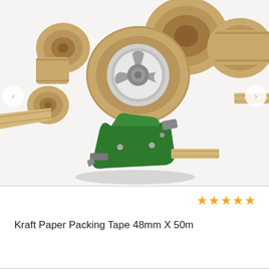[Figure (photo): Multiple rolls of brown kraft paper packing tape arranged around a green metal tape dispenser/gun. The tape dispenser holds one roll of tape mounted on it. Various rolls are stacked and scattered around it on a white background.]
Kraft Paper Packing Tape 48mm X 50m